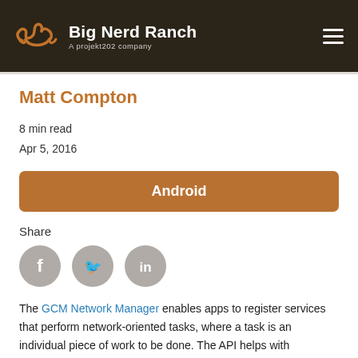Big Nerd Ranch — A projekt202 company
Matt Compton
8 min read
Apr 5, 2016
Android
Share
[Figure (illustration): Three circular social media share icons: Facebook (f), Twitter (bird), LinkedIn (in), all in gray.]
The GCM Network Manager enables apps to register services that perform network-oriented tasks, where a task is an individual piece of work to be done. The API helps with scheduling these tasks, allowing Google Play services to batch network operations